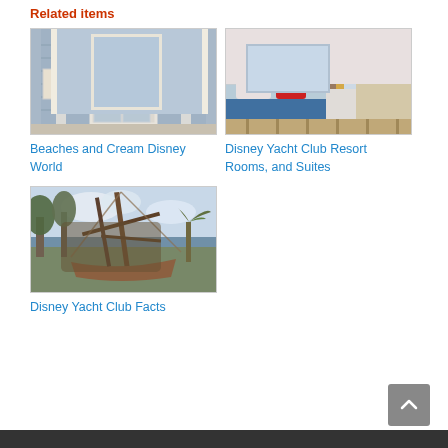Related items
[Figure (photo): Exterior of Beaches and Cream restaurant at Disney World, blue building with white trim and French doors]
Beaches and Cream Disney World
[Figure (photo): Hotel room interior at Disney Yacht Club Resort showing a bed with red pillows and blue bedding, striped floor]
Disney Yacht Club Resort Rooms, and Suites
[Figure (photo): Outdoor area at Disney Yacht Club showing a tall ship mast structure near water and palm trees]
Disney Yacht Club Facts